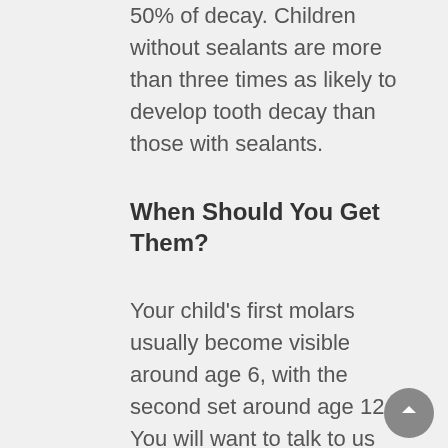50% of decay. Children without sealants are more than three times as likely to develop tooth decay than those with sealants.
When Should You Get Them?
Your child's first molars usually become visible around age 6, with the second set around age 12. You will want to talk to us about the best course of action for keeping your child's teeth. So let s...